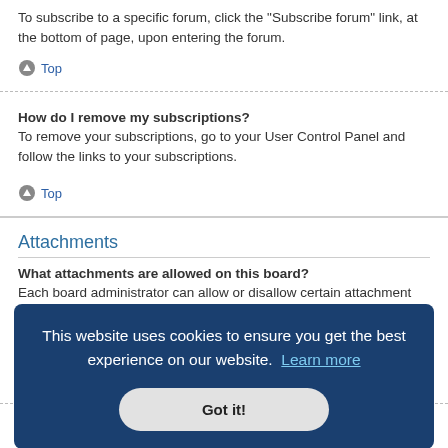To subscribe to a specific forum, click the "Subscribe forum" link, at the bottom of page, upon entering the forum.
Top
How do I remove my subscriptions?
To remove your subscriptions, go to your User Control Panel and follow the links to your subscriptions.
Top
Attachments
What attachments are allowed on this board?
Each board administrator can allow or disallow certain attachment types. If you are unsure what is allowed to be uploaded, contact the board administrator for
This website uses cookies to ensure you get the best experience on our website. Learn more
Got it!
er Control
Top